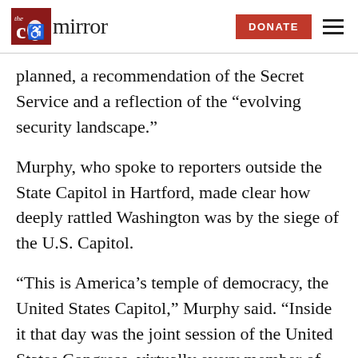The CT Mirror — DONATE
planned, a recommendation of the Secret Service and a reflection of the “evolving security landscape.”
Murphy, who spoke to reporters outside the State Capitol in Hartford, made clear how deeply rattled Washington was by the siege of the U.S. Capitol.
“This is America’s temple of democracy, the United States Capitol,” Murphy said. “Inside it that day was the joint session of the United States Congress, virtually every member of